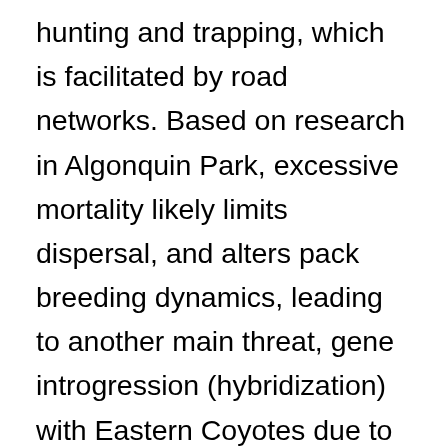hunting and trapping, which is facilitated by road networks. Based on research in Algonquin Park, excessive mortality likely limits dispersal, and alters pack breeding dynamics, leading to another main threat, gene introgression (hybridization) with Eastern Coyotes due to the lack of conspecific mates. Habitat loss and fragmentation associated with road networks and urbanization is expected to continue outside protected areas and likely will deter population expansion. Negative public attitudes towards wolves, and established packs of Eastern Coyotes may